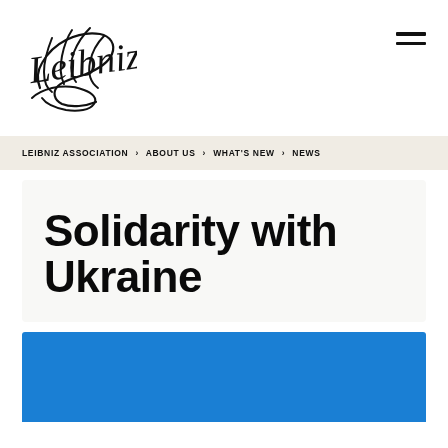[Figure (logo): Leibniz Association cursive handwritten logo in black ink]
LEIBNIZ ASSOCIATION › ABOUT US › WHAT'S NEW › NEWS
Solidarity with Ukraine
[Figure (photo): Blue background image, partially visible at bottom of page]